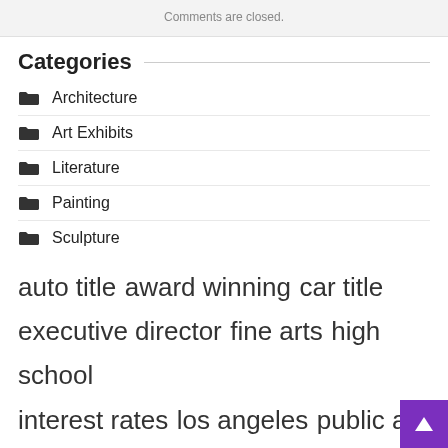Comments are closed.
Categories
Architecture
Art Exhibits
Literature
Painting
Sculpture
auto title  award winning  car title  executive director  fine arts  high school  interest rates  los angeles  public art